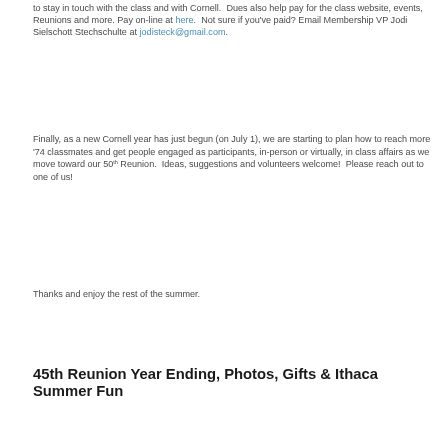to stay in touch with the class and with Cornell.  Dues also help pay for the class website, events, Reunions and more. Pay on-line at here.  Not sure if you've paid? Email Membership VP Jodi Sielschott Stechschulte at jodisteck@gmail.com.
Finally, as a new Cornell year has just begun (on July 1), we are starting to plan how to reach more '74 classmates and get people engaged as participants, in-person or virtually, in class affairs as we move toward our 50th Reunion.  Ideas, suggestions and volunteers welcome!  Please reach out to one of us!
Thanks and enjoy the rest of the summer.
45th Reunion Year Ending, Photos, Gifts & Ithaca Summer Fun